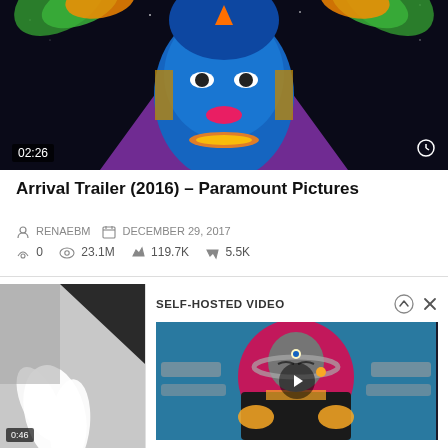[Figure (screenshot): Video thumbnail showing a colorful illustrated face with blue skin, vivid neon colors, cosmic background. Timestamp 02:26 shown bottom-left, clock icon bottom-right.]
Arrival Trailer (2016) – Paramount Pictures
RENAEBM   DECEMBER 29, 2017
0   23.1M   119.7K   5.5K
[Figure (screenshot): Interface screenshot showing a self-hosted video panel with an ornate illustrated figure against a magenta/pink circular background. Panel titled SELF-HOSTED VIDEO with up arrow and X icons. Left side shows partial image of white feathers on gray background.]